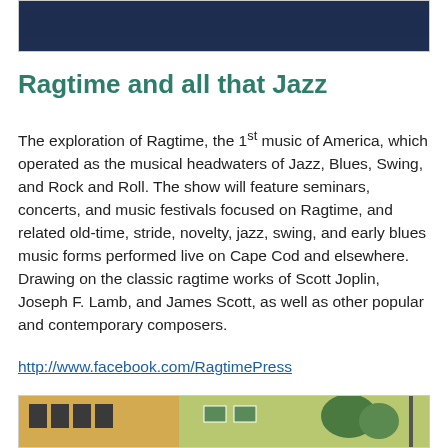[Figure (photo): Dark blue/navy banner image at the top of the page]
Ragtime and all that Jazz
The exploration of Ragtime, the 1st music of America, which operated as the musical headwaters of Jazz, Blues, Swing, and Rock and Roll. The show will feature seminars, concerts, and music festivals focused on Ragtime, and related old-time, stride, novelty, jazz, swing, and early blues music forms performed live on Cape Cod and elsewhere. Drawing on the classic ragtime works of Scott Joplin, Joseph F. Lamb, and James Scott, as well as other popular and contemporary composers.
http://www.facebook.com/RagtimePress
[Figure (photo): Bottom image showing colorful buildings with windows, appears to be a street scene painting or illustration]